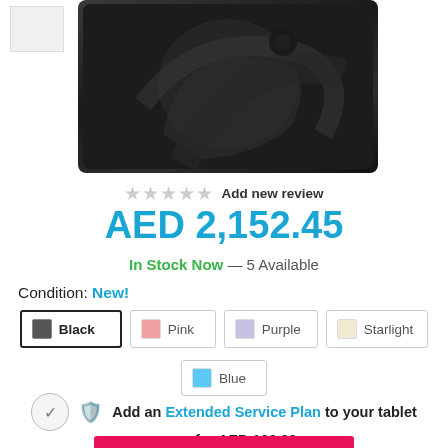[Figure (photo): Apple iPad Air product photo on dark/space gray background, showing back of device]
★★★★★ Add new review
AED 2,152.45
In Stock Now — 5 Available
Condition: New!
Black | Pink | Purple | Starlight | Blue (color options)
Add an Extended Service Plan to your tablet for AED 163.99